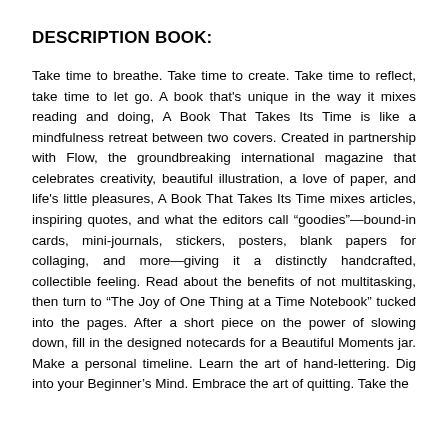DESCRIPTION BOOK:
Take time to breathe. Take time to create. Take time to reflect, take time to let go. A book that's unique in the way it mixes reading and doing, A Book That Takes Its Time is like a mindfulness retreat between two covers. Created in partnership with Flow, the groundbreaking international magazine that celebrates creativity, beautiful illustration, a love of paper, and life's little pleasures, A Book That Takes Its Time mixes articles, inspiring quotes, and what the editors call “goodies”—bound-in cards, mini-journals, stickers, posters, blank papers for collaging, and more—giving it a distinctly handcrafted, collectible feeling. Read about the benefits of not multitasking, then turn to “The Joy of One Thing at a Time Notebook” tucked into the pages. After a short piece on the power of slowing down, fill in the designed notecards for a Beautiful Moments jar. Make a personal timeline. Learn the art of hand-lettering. Dig into your Beginner’s Mind. Embrace the art of quitting. Take the